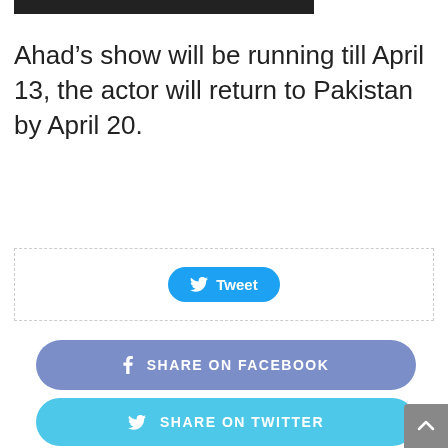[Figure (photo): Partial photo strip at top of page showing people]
Ahad’s show will be running till April 13, the actor will return to Pakistan by April 20.
[Figure (screenshot): Tweet button widget with Twitter bird icon]
[Figure (infographic): Share buttons: Share on Facebook (purple), Share on Twitter (cyan), Share on Pinterest (red)]